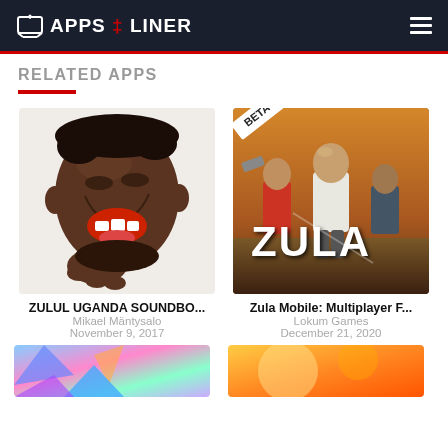APPS LINER
RELATED APPS
[Figure (illustration): App icon for ZULUL UGANDA SOUNDBO... showing a laughing cartoon face with hand on chin]
ZULUL UGANDA SOUNDBO...
Mikael Mäntysalo
November 9, 2017
[Figure (illustration): App icon for Zula Mobile: Multiplayer F... showing action shooter game characters with BETA label and ZULA title]
Zula Mobile: Multiplayer F...
Lokum Games
December 21, 2020
[Figure (illustration): Partial app icon thumbnail at bottom left showing colorful abstract design]
[Figure (illustration): Partial app icon thumbnail at bottom right showing orange/warm toned design]